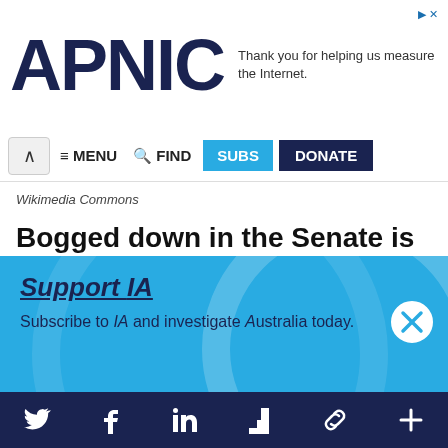[Figure (logo): APNIC logo in dark navy blue bold text]
Thank you for helping us measure the Internet.
≡ MENU  🔍 FIND  SUBS  DONATE
Wikimedia Commons
Bogged down in the Senate is a Bill that selects a farming area, Napandee, near Kimba in South Australia, as Australia's national
Support IA
Subscribe to IA and investigate Australia today.